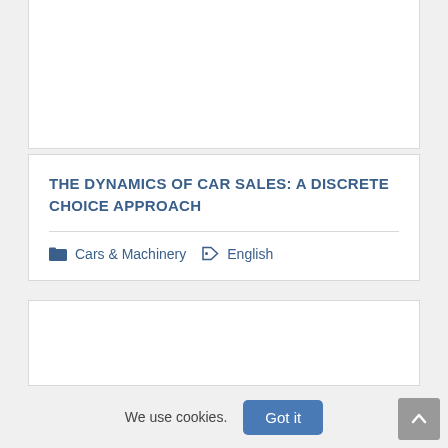[Figure (other): Top card with white background, content cut off at top of page]
THE DYNAMICS OF CAR SALES: A DISCRETE CHOICE APPROACH
Cars & Machinery   English
[Figure (other): Bottom card with white background, content extends below page fold]
We use cookies.
Got it